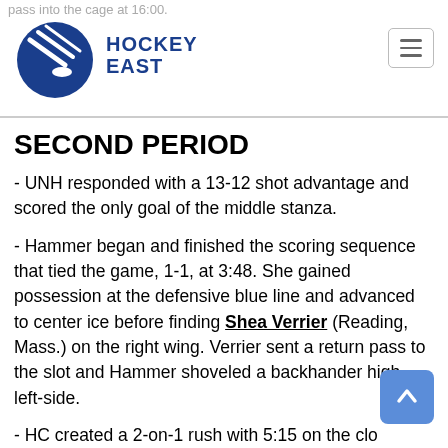Hockey East logo and navigation
SECOND PERIOD
- UNH responded with a 13-12 shot advantage and scored the only goal of the middle stanza.
- Hammer began and finished the scoring sequence that tied the game, 1-1, at 3:48. She gained possession at the defensive blue line and advanced to center ice before finding Shea Verrier (Reading, Mass.) on the right wing. Verrier sent a return pass to the slot and Hammer shoveled a backhander high left-side.
- HC created a 2-on-1 rush with 5:15 on the clock. Harnett stopped. Johal's initial shot from the slot and